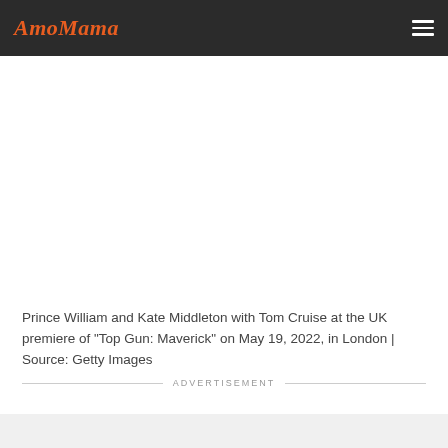AmoMama
Prince William and Kate Middleton with Tom Cruise at the UK premiere of "Top Gun: Maverick" on May 19, 2022, in London | Source: Getty Images